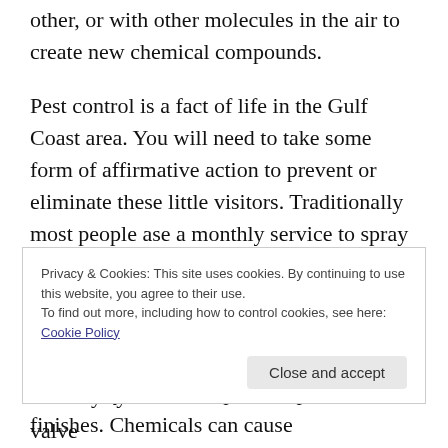other, or with other molecules in the air to create new chemical compounds.
Pest control is a fact of life in the Gulf Coast area. You will need to take some form of affirmative action to prevent or eliminate these little visitors. Traditionally most people ase a monthly service to spray pesticides along the baseboards, door openings and wet areas of the home interiors. Though this is the most effective control method, it can also have the greatest effect on your health, pets, carpets and finishes. Chemicals can cause
Privacy & Cookies: This site uses cookies. By continuing to use this website, you agree to their use.
To find out more, including how to control cookies, see here: Cookie Policy
delivery system linked to an exterior inlet valve